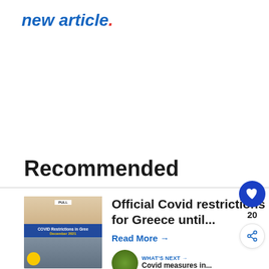new article.
Recommended
[Figure (photo): Thumbnail image of a shopping mall with COVID Restrictions in Greece December 2021 overlay text and yellow badge]
Official Covid restrictions for Greece until...
Read More →
20
WHAT'S NEXT → Covid measures in...